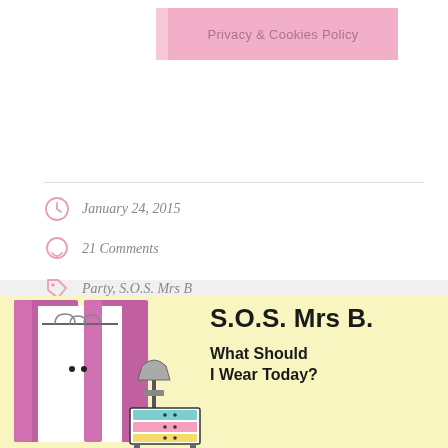[Figure (illustration): Pink Privacy & Cookies Policy banner with pink tab on left side]
January 24, 2015
21 Comments
Party, S.O.S. Mrs B
[Figure (illustration): Row of five social media icon circles (Twitter, Facebook, Google+, Pinterest, LinkedIn) in pink outline style]
[Figure (illustration): Book cover or blog header illustration: wardrobe with pink doors and colorful drawers on yellow background. Text reads: S.O.S. Mrs B. What Should I Wear Today?]